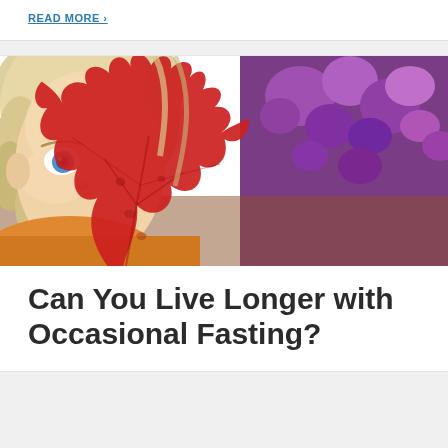READ MORE >
[Figure (photo): A young blonde girl with blue eyes holding a large red maple leaf in front of half her face, with purple flowers in the background and wearing an orange/yellow jacket.]
Can You Live Longer with Occasional Fasting?